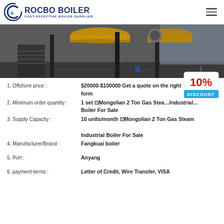ROCBO BOILER — COST-EFFECTIVE BOILER SUPPLIER
[Figure (photo): Industrial boiler facility showing large yellow pipes and machinery in a warehouse setting]
1. Offshore price : $20000-$100000 Get a quote on the right form
2. Minimum order quantity : 1 set ⊡Mongolian 2 Ton Gas Steam Industrial Boiler For Sale
3. Supply Capacity : 10 units/month ⊡Mongolian 2 Ton Gas Steam Industrial Boiler For Sale
4. Manufacturer/Brand : Fangkuai boiler
5. Port : Anyang
6. payment terms : Letter of Credit, Wire Transfer, VISA